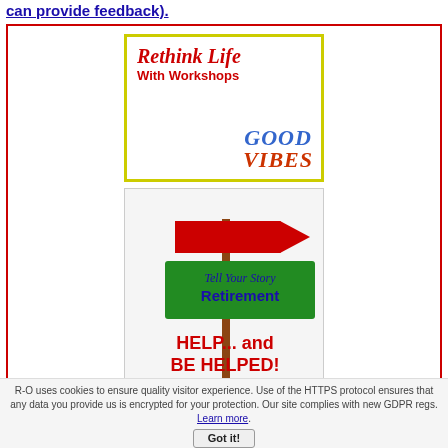can provide feedback).
[Figure (illustration): Ad image: 'Rethink Life With Workshops' in red italic text with 'GOOD VIBES' in blue and red stylized letters, inside a yellow-bordered box.]
[Figure (illustration): Ad image showing a street sign post with a red arrow pointing right, a green sign reading 'Tell Your Story Retirement', text 'HELP... and BE HELPED!' in red bold, and 'Share Your Story Here!' in black bold.]
R-O uses cookies to ensure quality visitor experience. Use of the HTTPS protocol ensures that any data you provide us is encrypted for your protection. Our site complies with new GDPR regs. Learn more.
Got it!